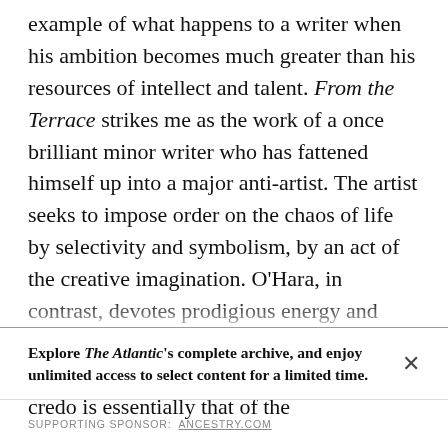example of what happens to a writer when his ambition becomes much greater than his resources of intellect and talent. From the Terrace strikes me as the work of a once brilliant minor writer who has fattened himself up into a major anti-artist. The artist seeks to impose order on the chaos of life by selectivity and symbolism, by an act of the creative imagination. O'Hara, in contrast, devotes prodigious energy and considerable technical skill to reproducing raw experience in all its pointlessness. His credo is essentially that of the reporter, to get all of the facts, all of the...
Explore The Atlantic's complete archive, and enjoy unlimited access to select content for a limited time.
SUPPORTING SPONSOR: ANCESTRY.COM